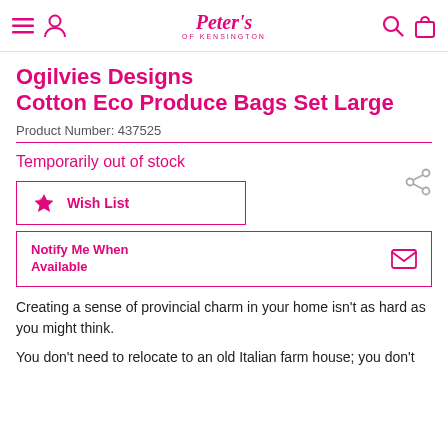Peter's of Kensington
Ogilvies Designs Cotton Eco Produce Bags Set Large
Product Number: 437525
Temporarily out of stock
Wish List
Notify Me When Available
Creating a sense of provincial charm in your home isn't as hard as you might think.
You don't need to relocate to an old Italian farm house; you don't